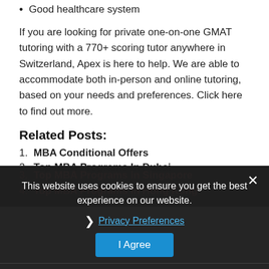Good healthcare system
If you are looking for private one-on-one GMAT tutoring with a 770+ scoring tutor anywhere in Switzerland, Apex is here to help. We are able to accommodate both in-person and online tutoring, based on your needs and preferences. Click here to find out more.
Related Posts:
MBA Conditional Offers
Top MBA Programs In Dubai
Top MBA Programs in Singapore
Top MBA Programs in Hong Kong
This website uses cookies to ensure you get the best experience on our website.
Privacy Preferences
I Agree
GMAT  MBA
EHL – ECOLE HÔTELIÈRE DE LAUSANNE, EU